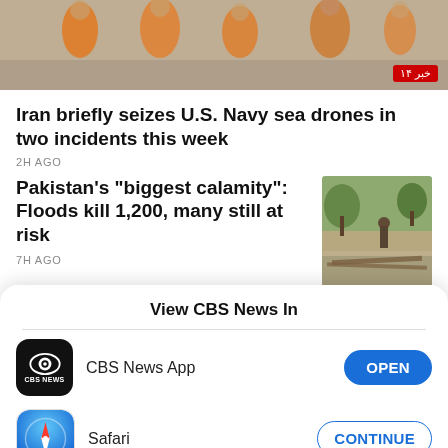[Figure (photo): Top news photo showing people in orange clothing with a red news badge overlay reading Arabic/Farsi text]
Iran briefly seizes U.S. Navy sea drones in two incidents this week
2H AGO
Pakistan's "biggest calamity": Floods kill 1,200, many still at risk
7H AGO
[Figure (photo): Thumbnail photo of flood aftermath in Pakistan, showing a person standing near debris and murky water]
View CBS News In
CBS News App
OPEN
Safari
CONTINUE